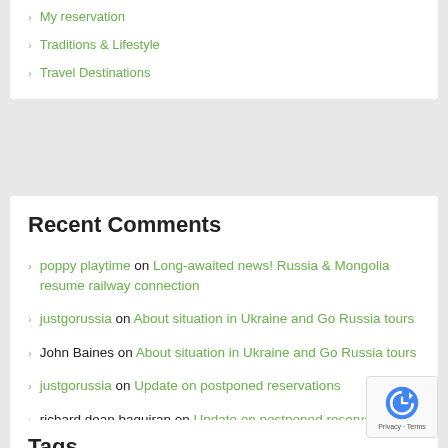My reservation
Traditions & Lifestyle
Travel Destinations
Recent Comments
poppy playtime on Long-awaited news! Russia & Mongolia resume railway connection
justgorussia on About situation in Ukraine and Go Russia tours
John Baines on About situation in Ukraine and Go Russia tours
justgorussia on Update on postponed reservations
richard dean baquiran on Update on postponed reservations
Tags